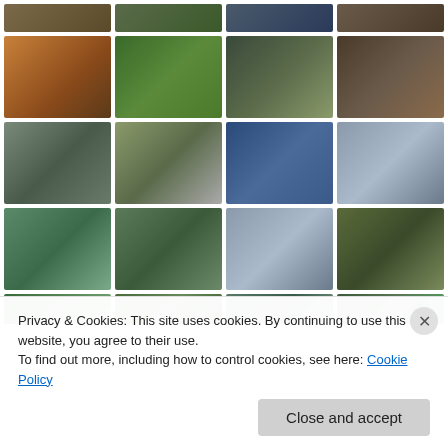[Figure (photo): Photo grid of travel/nature images showing hotel rooms, outdoor scenes, people, boats, limestone rock islands, and tropical scenery]
Privacy & Cookies: This site uses cookies. By continuing to use this website, you agree to their use.
To find out more, including how to control cookies, see here: Cookie Policy
Close and accept